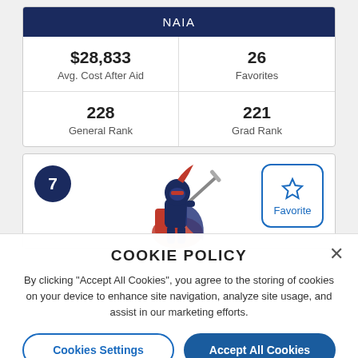| NAIA |
| --- |
| $28,833
Avg. Cost After Aid | 26
Favorites |
| 228
General Rank | 221
Grad Rank |
[Figure (illustration): Ranking card number 7 with a knight mascot illustration and a Favorite button]
COOKIE POLICY
By clicking "Accept All Cookies", you agree to the storing of cookies on your device to enhance site navigation, analyze site usage, and assist in our marketing efforts.
Cookies Settings | Accept All Cookies